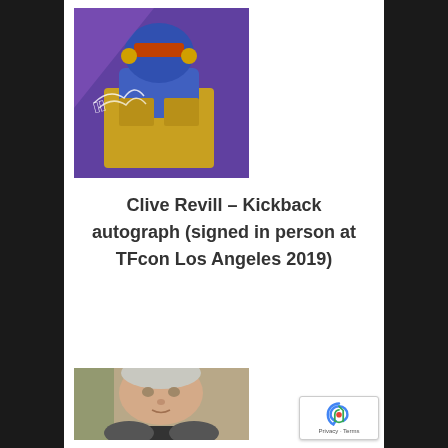[Figure (photo): Signed autograph of Kickback (Transformers character), featuring a cartoon robot with purple and yellow coloring, with a handwritten signature in white]
Clive Revill – Kickback autograph (signed in person at TFcon Los Angeles 2019)
[Figure (photo): Photo of Clive Revill, an older man with gray/white hair, smiling slightly, with text written at the bottom of the photo]